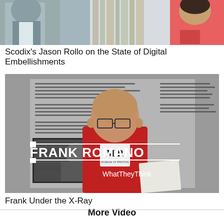[Figure (photo): Top photo showing two people, partial view, one in a suit and one in a pink/red top]
Scodix's Jason Rollo on the State of Digital Embellishments
[Figure (photo): Frank Romano standing in front of a document/text background, wearing a red Museum of Printing shirt, with the text FRANK ROMANO and WhatTheyThink overlaid]
Frank Under the X-Ray
More Video